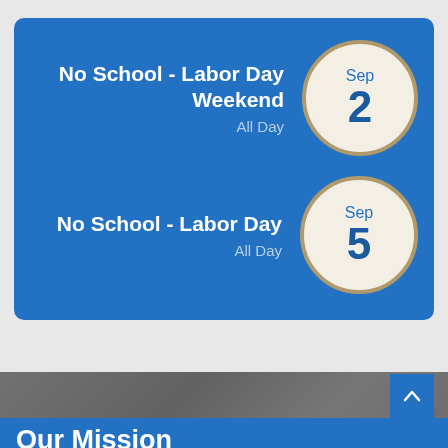No School - Labor Day Weekend
All Day
Sep 2
No School - Labor Day
All Day
Sep 5
[Figure (photo): Dark grey/blurred background photo of a classroom or school interior, with a blue 'back to top' button (chevron up icon) in top right.]
Our Mission